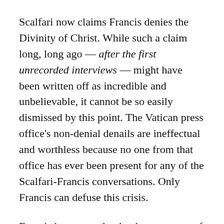Scalfari now claims Francis denies the Divinity of Christ. While such a claim long, long ago — after the first unrecorded interviews — might have been written off as incredible and unbelievable, it cannot be so easily dismissed by this point. The Vatican press office's non-denial denails are ineffectual and worthless because no one from that office has ever been present for any of the Scalfari-Francis conversations. Only Francis can defuse this crisis.
Francis is supposed to be the successor of St. Peter, but he does not comport himself as such. Time after time he insults the faithful, their beliefs and piety, and he makes statements, or issues documents that can be interpreted in a